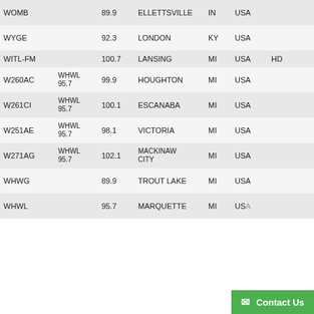| Call Sign | Parent | Freq | City | ST | Country | HD |  | Format |
| --- | --- | --- | --- | --- | --- | --- | --- | --- |
| WOMB |  | 89.9 | ELLETTSVILLE | IN | USA |  |  | RELIGIOUS TEACHING |
| WYGE |  | 92.3 | LONDON | KY | USA |  |  | RELIGIOUS TEACHING |
| WITL-FM |  | 100.7 | LANSING | MI | USA | HD |  | COUNTRY |
| W260AC | WHWL 95.7 | 99.9 | HOUGHTON | MI | USA |  |  | RELIGIOUS TEACHING |
| W261CI | WHWL 95.7 | 100.1 | ESCANABA | MI | USA |  |  | RELIGIOUS TEACHING |
| W251AE | WHWL 95.7 | 98.1 | VICTORIA | MI | USA |  |  | RELIGIOUS TEACHING |
| W271AG | WHWL 95.7 | 102.1 | MACKINAW CITY | MI | USA |  |  | RELIGIOUS TEACHING |
| WHWG |  | 89.9 | TROUT LAKE | MI | USA |  |  | RELIGIOUS TEACHING |
| WHWL |  | 95.7 | MARQUETTE | MI | US... |  |  | RELIGIOUS TEACHING |